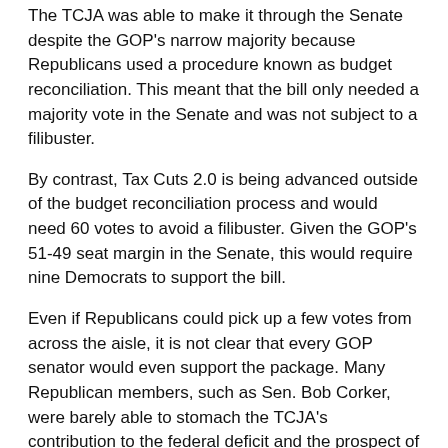The TCJA was able to make it through the Senate despite the GOP's narrow majority because Republicans used a procedure known as budget reconciliation. This meant that the bill only needed a majority vote in the Senate and was not subject to a filibuster.
By contrast, Tax Cuts 2.0 is being advanced outside of the budget reconciliation process and would need 60 votes to avoid a filibuster. Given the GOP's 51-49 seat margin in the Senate, this would require nine Democrats to support the bill.
Even if Republicans could pick up a few votes from across the aisle, it is not clear that every GOP senator would even support the package. Many Republican members, such as Sen. Bob Corker, were barely able to stomach the TCJA's contribution to the federal deficit and the prospect of adding another heap of debt could be a nonstarter.
Jon Traub, managing principal at Deloitte's Tax Policy Group, wrote after the House passage that there is